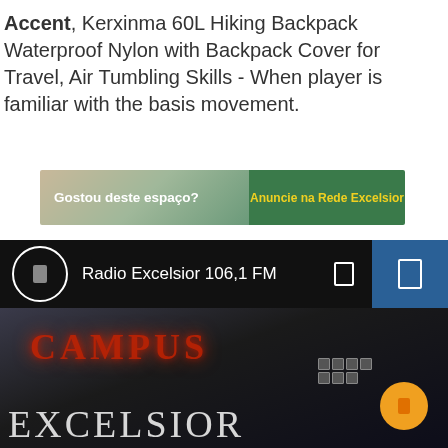Accent, Kerxinma 60L Hiking Backpack Waterproof Nylon with Backpack Cover for Travel, Air Tumbling Skills - When player is familiar with the basis movement.
[Figure (other): Advertisement banner for Rede Excelsior. Left side shows 'Gostou deste espaço?' in bold white text on a nature background (sand/green). Right side shows 'Anuncie na Rede Excelsior' in yellow text on dark green background.]
[Figure (screenshot): Radio player bar showing Radio Excelsior 106,1 FM with circular play button icon, volume/menu icons, on black background with blue section on right.]
[Figure (photo): Dark photo with glowing red 'CAMPUS' text and 'EXCELSIOR' text at bottom in light serif letters. Orange circular button visible at right. Keyboard visible at bottom right.]